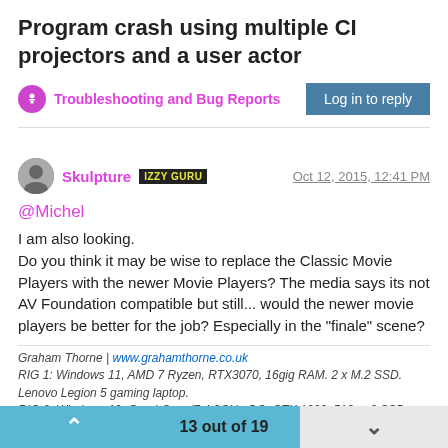Program crash using multiple CI projectors and a user actor
Troubleshooting and Bug Reports
Log in to reply
Skulpture  IZZY GURU  Oct 12, 2015, 12:41 PM
@Michel
I am also looking.
Do you think it may be wise to replace the Classic Movie Players with the newer Movie Players? The media says its not AV Foundation compatible but still... would the newer movie players be better for the job? Especially in the "finale" scene?
Graham Thorne | www.grahamthorne.co.uk
RIG 1: Windows 11, AMD 7 Ryzen, RTX3070, 16gig RAM. 2 x M.2 SSD. Lenovo Legion 5 gaming laptop.
RIG 2: Windows 10, Quad-Core i7 4.0GHz OC, GTX 1080, 512 m.2 SSD, 64gig Hyper X RAM. PCSpecialist.
RIG 3: Apple rMBP i7, 8gig RAM 256 SSD, OS X 10.12.12
13 out of 19